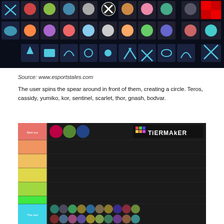[Figure (screenshot): Game character selection grid with icons on dark background, showing various character portraits and ability icons in a grid layout with a close button (X) overlay]
Source: www.esportstales.com
The user spins the spear around in front of them, creating a circle. Teros, cassidy, yumiko, kor, sentinel, scarlet, thor, gnash, bodvar.
[Figure (screenshot): TierMaker tier list showing Brawlhalla characters. Top row labeled 'Best too' (pink/red) contains 3 characters. Several empty orange, yellow-orange, yellow, green-yellow, and bright green tiers follow. Bottom cyan tier labeled 'The rest' contains many character portraits arranged in rows.]